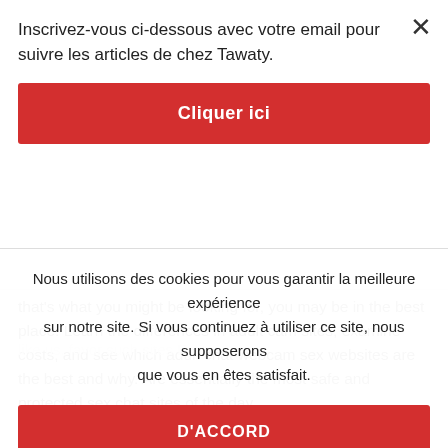Inscrivez-vous ci-dessous avec votre email pour suivre les articles de chez Tawaty.
Cliquer ici
that's what you might be looking for, you may be in the best place. Learn the differences in adult cam sites, examine costs, and see which adult chat webcam sex websites are the best and why. Are essentially the most safe and protected sex chat sites of the day.
Chat With Women Who Need Sex Now
Nous utilisons des cookies pour vous garantir la meilleure expérience sur notre site. Si vous continuez à utiliser ce site, nous supposerons que vous en êtes satisfait.
D'ACCORD
like us. favor such sites Extra